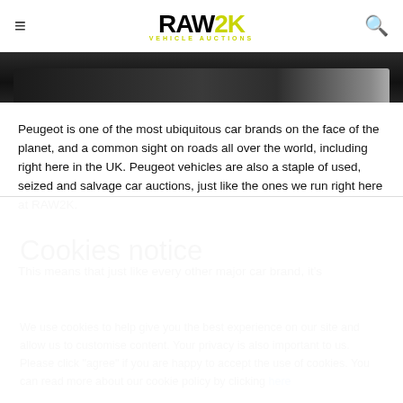RAW2K VEHICLE AUCTIONS
[Figure (photo): Partial view of a dark-coloured car, cropped to show just the top portion against a dark background]
Peugeot is one of the most ubiquitous car brands on the face of the planet, and a common sight on roads all over the world, including right here in the UK. Peugeot vehicles are also a staple of used, seized and salvage car auctions, just like the ones we run right here at RAW2K.
This means that just like every other major car brand, it's
Cookies notice
We use cookies to help give you the best experience on our site and allow us to customise content. Your privacy is also important to us. Please click "agree" if you are happy to accept the use of cookies. You can read more about our cookie policy by clicking here